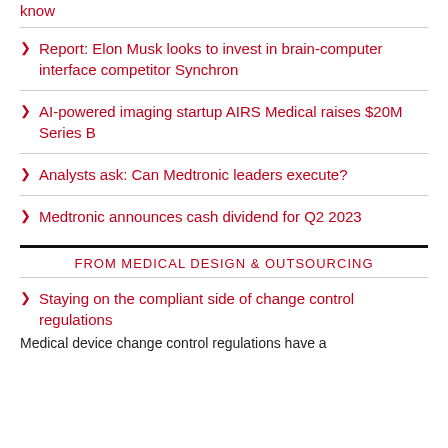know
Report: Elon Musk looks to invest in brain-computer interface competitor Synchron
AI-powered imaging startup AIRS Medical raises $20M Series B
Analysts ask: Can Medtronic leaders execute?
Medtronic announces cash dividend for Q2 2023
FROM MEDICAL DESIGN & OUTSOURCING
Staying on the compliant side of change control regulations
Medical device change control regulations have a